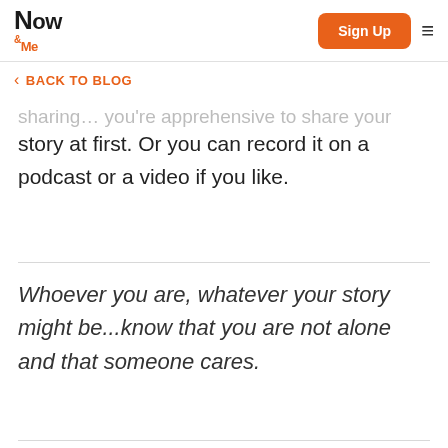Additionally, you can choose to put your story in a blog and share it online on pla…
[Figure (screenshot): Now & Me website navigation bar with logo, Sign Up button, and hamburger menu]
< BACK TO BLOG
sharing… you're apprehensive to share your story at first. Or you can record it on a podcast or a video if you like.
Whoever you are, whatever your story might be...know that you are not alone and that someone cares.